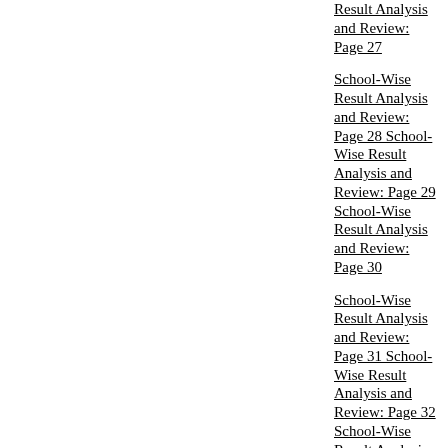Result Analysis and Review: Page 27
School-Wise Result Analysis and Review: Page 28 School-Wise Result Analysis and Review: Page 29 School-Wise Result Analysis and Review: Page 30
School-Wise Result Analysis and Review: Page 31 School-Wise Result Analysis and Review: Page 32 School-Wise Result Analysis